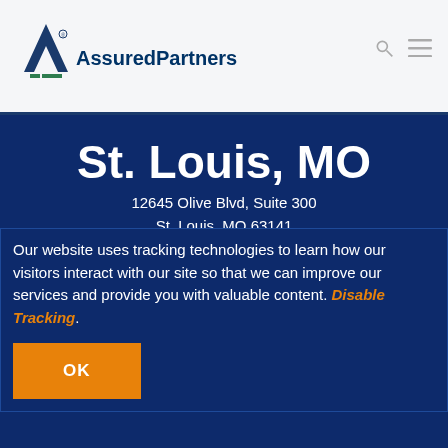[Figure (logo): AssuredPartners logo with triangle 'A' icon above the wordmark]
St. Louis, MO
12645 Olive Blvd, Suite 300
St. Louis, MO 63141
Phone: (314) 523-8800
Toll-Free: (314) 453-7555
stlouismo@assuredpartners.com
Our website uses tracking technologies to learn how our visitors interact with our site so that we can improve our services and provide you with valuable content. Disable Tracking.